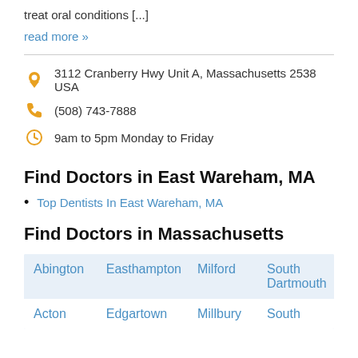treat oral conditions [...]
read more »
3112 Cranberry Hwy Unit A, Massachusetts 2538 USA
(508) 743-7888
9am to 5pm Monday to Friday
Find Doctors in East Wareham, MA
Top Dentists In East Wareham, MA
Find Doctors in Massachusetts
| Abington | Easthampton | Milford | South Dartmouth |
| Acton | Edgartown | Millbury | South |